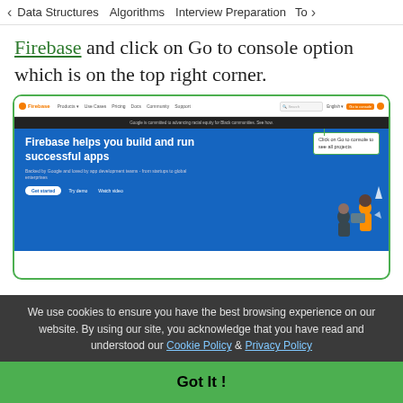< Data Structures   Algorithms   Interview Preparation   Top>
Firebase and click on Go to console option which is on the top right corner.
[Figure (screenshot): Screenshot of the Firebase homepage showing the navigation bar with 'Go to console' button highlighted with a green callout box saying 'Click on Go to console to see all projects'. The hero section shows 'Firebase helps you build and run successful apps' with a blue background and illustrated characters.]
We use cookies to ensure you have the best browsing experience on our website. By using our site, you acknowledge that you have read and understood our Cookie Policy & Privacy Policy
Got It !